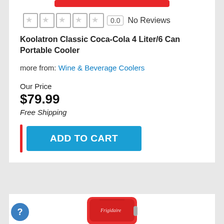[Figure (screenshot): Red button partially visible at top of product card]
0.0  No Reviews
Koolatron Classic Coca-Cola 4 Liter/6 Can Portable Cooler
more from: Wine & Beverage Coolers
Our Price
$79.99
Free Shipping
ADD TO CART
[Figure (photo): Red Frigidaire mini fridge/cooler product image, partially visible at bottom]